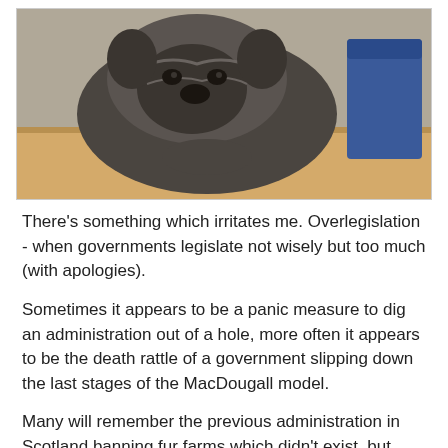[Figure (photo): A pug dog resting its head on a wooden table, with a blue chair visible in the background.]
There's something which irritates me. Overlegislation - when governments legislate not wisely but too much (with apologies).
Sometimes it appears to be a panic measure to dig an administration out of a hole, more often it appears to be the death rattle of a government slipping down the last stages of the MacDougall model.
Many will remember the previous administration in Scotland banning fur farms which didn't exist, but London always outdoes us in glorious redundancy. Take, for example, the law against using a mobile phone while driving. Not only was this not needed, but it actually made the law worse.
Before this very specific legislation the offence would be